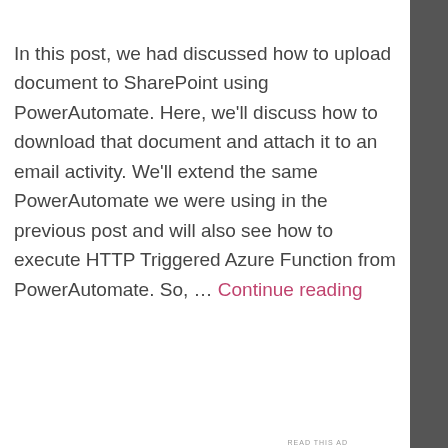In this post, we had discussed how to upload document to SharePoint using PowerAutomate. Here, we'll discuss how to download that document and attach it to an email activity. We'll extend the same PowerAutomate we were using in the previous post and will also see how to execute HTTP Triggered Azure Function from PowerAutomate. So, ... Continue reading
[Figure (infographic): DuckDuckGo advertisement banner with orange background showing 'Search, browse, and email with more privacy. All in One Free App' with a smartphone graphic and DuckDuckGo logo]